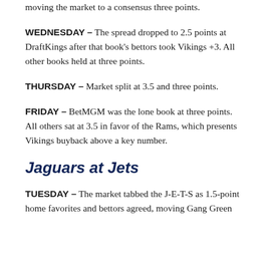moving the market to a consensus three points.
WEDNESDAY – The spread dropped to 2.5 points at DraftKings after that book's bettors took Vikings +3. All other books held at three points.
THURSDAY – Market split at 3.5 and three points.
FRIDAY – BetMGM was the lone book at three points. All others sat at 3.5 in favor of the Rams, which presents Vikings buyback above a key number.
Jaguars at Jets
TUESDAY – The market tabbed the J-E-T-S as 1.5-point home favorites and bettors agreed, moving Gang Green